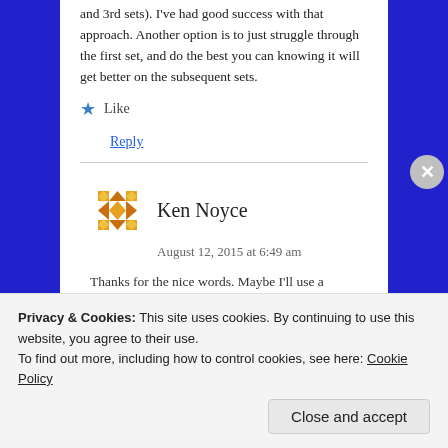and 3rd sets). I've had good success with that approach. Another option is to just struggle through the first set, and do the best you can knowing it will get better on the subsequent sets.
★ Like
Reply
Ken Noyce
August 12, 2015 at 6:49 am
Thanks for the nice words. Maybe I'll use a...
Privacy & Cookies: This site uses cookies. By continuing to use this website, you agree to their use. To find out more, including how to control cookies, see here: Cookie Policy
Close and accept